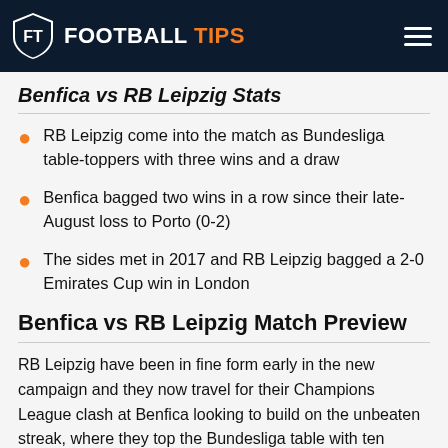FOOTBALL TIPS
Benfica vs RB Leipzig Stats
RB Leipzig come into the match as Bundesliga table-toppers with three wins and a draw
Benfica bagged two wins in a row since their late-August loss to Porto (0-2)
The sides met in 2017 and RB Leipzig bagged a 2-0 Emirates Cup win in London
Benfica vs RB Leipzig Match Preview
RB Leipzig have been in fine form early in the new campaign and they now travel for their Champions League clash at Benfica looking to build on the unbeaten streak, where they top the Bundesliga table with ten points to their name after four games including a thriller 1-1 draw against Bayern Munich now behind them.